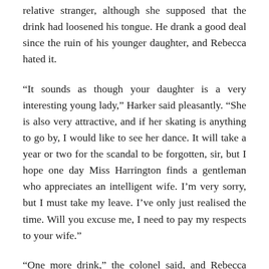relative stranger, although she supposed that the drink had loosened his tongue. He drank a good deal since the ruin of his younger daughter, and Rebecca hated it.
“It sounds as though your daughter is a very interesting young lady,” Harker said pleasantly. “She is also very attractive, and if her skating is anything to go by, I would like to see her dance. It will take a year or two for the scandal to be forgotten, sir, but I hope one day Miss Harrington finds a gentleman who appreciates an intelligent wife. I’m very sorry, but I must take my leave. I’ve only just realised the time. Will you excuse me, I need to pay my respects to your wife.”
“One more drink,” the colonel said, and Rebecca was horrified at how badly he was slurring his words. She took hold of her courage with both hands and opened the door. Harker stood up quickly.
“Miss Harrington, I was just taking my leave of your father, and